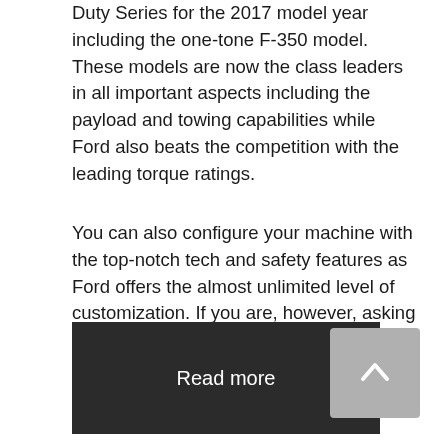Duty Series for the 2017 model year including the one-tone F-350 model. These models are now the class leaders in all important aspects including the payload and towing capabilities while Ford also beats the competition with the leading torque ratings.
You can also configure your machine with the top-notch tech and safety features as Ford offers the almost unlimited level of customization. If you are, however, asking yourself should you wait for the new 2018 Ford F-350, you probably shouldn't as this model will continue largely unchanged.
Read more